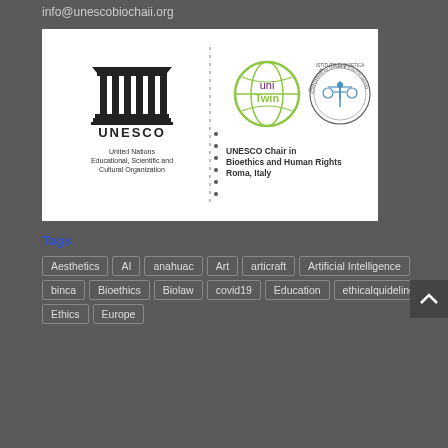info@unescobiochaii.org
[Figure (logo): UNESCO and UNESCO Chair in Bioethics and Human Rights logo. Left side shows UNESCO temple logo with text 'United Nations Educational, Scientific and Cultural Organization'. Right side shows UniTwin globe logo and an Instituto di Bioetica e Diritti Umani circular seal logo, with text 'UNESCO Chair in Bioethics and Human Rights Roma, Italy'. Separated by a dotted vertical line.]
Tags
Aesthetics
AI
anahuac
Art
articraft
Artificial Intelligence
binca
Bioethics
Biolaw
covid19
Education
ethicalquidelines
Ethics
Europe